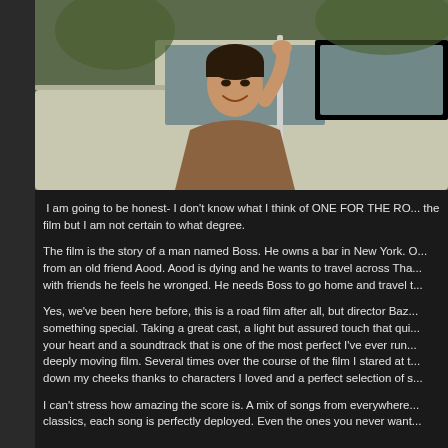[Figure (photo): A young Asian man smiling and leaning out of a car window, holding onto the car roof. The photo is set against a light background showing a vintage white car.]
I am going to be honest- I don't know what I think of ONE FOR THE RO... the film but I am not certain to what degree.
The film is the story of a man named Boss. He owns a bar in New York. O... from an old friend Aood. Aood is dying and he wants to travel across Tha... with friends he feels he wronged. He needs Boss to go home and travel t...
Yes, we've been here before, this is a road film after all, but director Baz... something special. Taking a great cast, a light but assured touch that qui... your heart and a soundtrack that is one of the most perfect I've ever run... deeply moving film. Several times over the course of the film I stared at t... down my cheeks thanks to characters I loved and a perfect selection of s...
I can't stress how amazing the score is. A mix of songs from everywhere... classics, each song is perfectly deployed. Even the ones you never want...